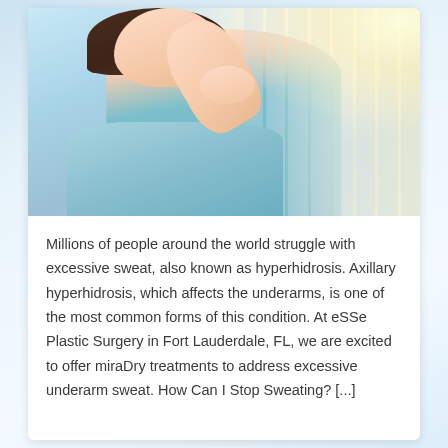[Figure (photo): A smiling woman in a light blue tank top raising her arm overhead and making an OK gesture with her hand, suggesting confidence about underarm health. Bright light flare in the upper right background with vertical blind stripes.]
Millions of people around the world struggle with excessive sweat, also known as hyperhidrosis. Axillary hyperhidrosis, which affects the underarms, is one of the most common forms of this condition. At eSSe Plastic Surgery in Fort Lauderdale, FL, we are excited to offer miraDry treatments to address excessive underarm sweat. How Can I Stop Sweating? [...]